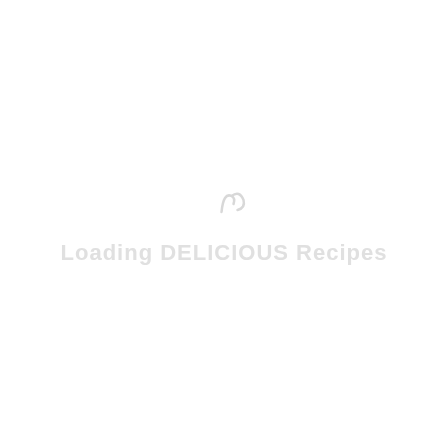[Figure (other): Mostly blank white page with a faint watermark-style icon and text reading 'Loading DELICIOUS Recipes' in very light gray near the center.]